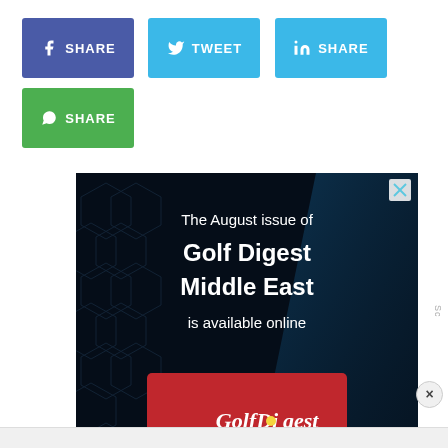[Figure (infographic): Social media share buttons: Facebook SHARE (purple), Twitter TWEET (blue), LinkedIn SHARE (blue), WhatsApp SHARE (green)]
[Figure (photo): Advertisement for Golf Digest Middle East August issue. Dark background with hexagonal pattern and blue accent. Text reads: The August issue of Golf Digest Middle East is available online. Magazine cover shown at bottom in red.]